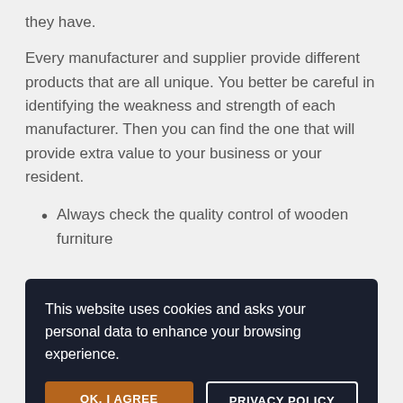they have.
Every manufacturer and supplier provide different products that are all unique. You better be careful in identifying the weakness and strength of each manufacturer. Then you can find the one that will provide extra value to your business or your resident.
Always check the quality control of wooden furniture
This website uses cookies and asks your personal data to enhance your browsing experience.
OK, I AGREE
PRIVACY POLICY